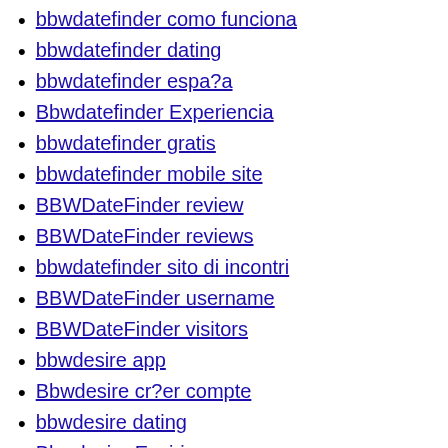bbwdatefinder como funciona
bbwdatefinder dating
bbwdatefinder espa?a
Bbwdatefinder Experiencia
bbwdatefinder gratis
bbwdatefinder mobile site
BBWDateFinder review
BBWDateFinder reviews
bbwdatefinder sito di incontri
BBWDateFinder username
BBWDateFinder visitors
bbwdesire app
Bbwdesire cr?er compte
bbwdesire dating
Bbwdesire Expirience
bbwdesire fr come funziona
bbwdesire fr cos
bbwdesire funziona in italia
bbwdesire gratis
BBWDesire review
bbwdesire reviews
bbwdesire search
BBWDesire visitors
Bbwdesire web de citas